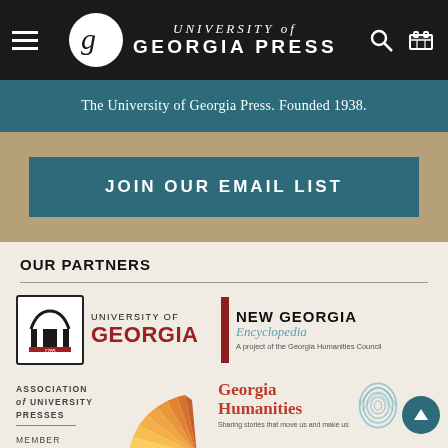UNIVERSITY of GEORGIA PRESS
The University of Georgia Press. Founded 1938.
JOIN OUR EMAIL LIST
OUR PARTNERS
[Figure (logo): University of Georgia logo with arch and wordmark: UNIVERSITY OF GEORGIA]
[Figure (logo): New Georgia Encyclopedia logo with red bar, title text, and subtitle 'A project of the Georgia Humanities Council']
[Figure (logo): Association of University Presses MEMBER logo]
[Figure (logo): Sun-ray / starburst orange logo]
[Figure (logo): Georgia Humanities logo with fingerprint map icon and text 'Sharing stories that move us and make us']